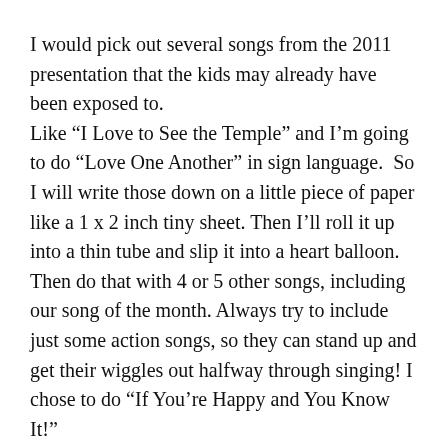I would pick out several songs from the 2011 presentation that the kids may already have been exposed to. Like “I Love to See the Temple” and I’m going to do “Love One Another” in sign language.  So I will write those down on a little piece of paper like a 1 x 2 inch tiny sheet. Then I’ll roll it up into a thin tube and slip it into a heart balloon. Then do that with 4 or 5 other songs, including our song of the month. Always try to include just some action songs, so they can stand up and get their wiggles out halfway through singing! I chose to do “If You’re Happy and You Know It!”